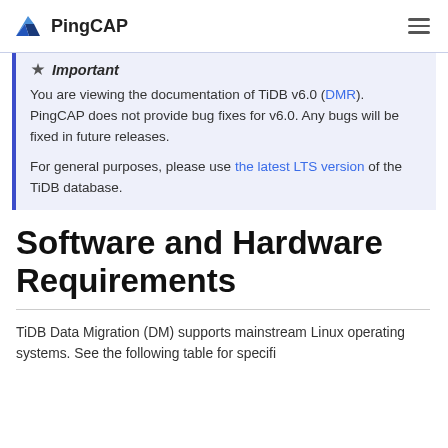PingCAP
Important
You are viewing the documentation of TiDB v6.0 (DMR). PingCAP does not provide bug fixes for v6.0. Any bugs will be fixed in future releases.
For general purposes, please use the latest LTS version of the TiDB database.
Software and Hardware Requirements
TiDB Data Migration (DM) supports mainstream Linux operating systems. See the following table for specific